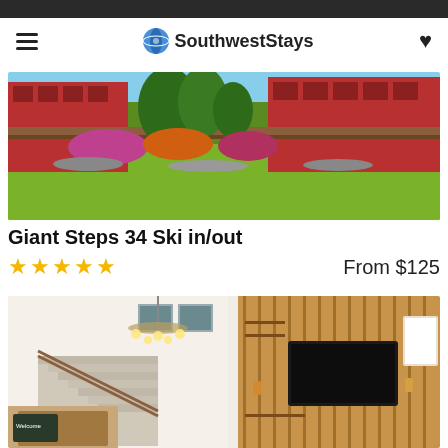SouthwestStays
[Figure (photo): Exterior photo of a red brick ski lodge with green lawn and flowering plants in summer]
Giant Steps 34 Ski in/out
★★★★★   From $125
[Figure (photo): Interior photo of a lodge living area with wooden accent wall, mounted TV, staircase, chandelier, and dining area]